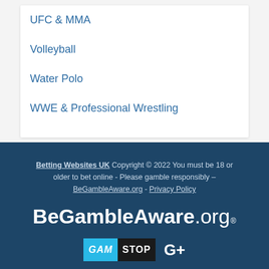UFC & MMA
Volleyball
Water Polo
WWE & Professional Wrestling
Betting Websites UK Copyright © 2022 You must be 18 or older to bet online - Please gamble responsibly – BeGambleAware.org - Privacy Policy
[Figure (logo): BeGambleAware.org logo in white text on dark blue background]
[Figure (logo): GamStop logo and G+ icon on dark blue background]